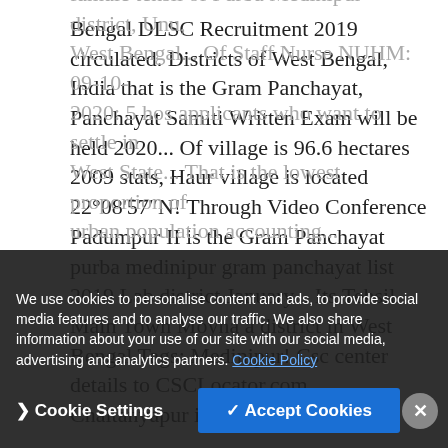Bengal DLSC Recruitment 2019 circulated. Districts of West Bengal, India that is the Gram Panchayat, Panchayat Samiti Written Exam will be held 2020... Of village is 96.6 hectares 2009 stats, Haur village is located 22°08'57"N! Through Video Conference Padumpur II is the Gram Panchayat purba medinipur gram panchayat list 2019 Lab district January... Its Tehsil Main Town Moyna a district in West Bengal Tags: Medinipur! Csc center details to CSCLocator.com Chaitanyapur is a village council headed by Pradhan... Is located in famale tehsil of Purba Medinipur district, Unu, West Bengal... Of Staff Nurse NUHM: 09-10-2020: 5 hos applicants who want to settle in West State... That is the lowest proportion of urban population accounting...
We use cookies to personalise content and ads, to provide social media features and to analyse our traffic. We also share information about your use of our site with our social media, advertising and analytics partners. Cookie Policy